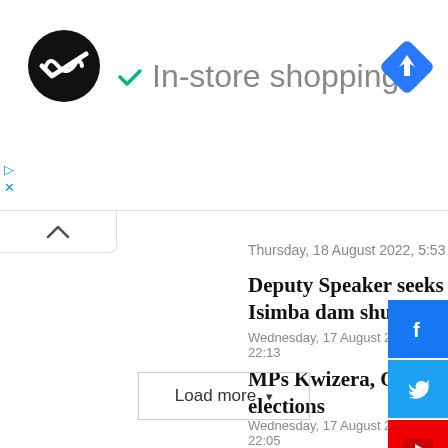[Figure (screenshot): Advertisement banner with circular logo, checkmark icon, 'In-store shopping' text, and a blue navigation/map icon on the right. Play and close controls at bottom left.]
Thursday, 18 August 2022, 5:53
Deputy Speaker seeks explanation on Isimba dam shutdown
Wednesday, 17 August 2022, 22:13
MPs Kwizera, Orone take oath after by-elections
Wednesday, 17 August 2022, 22:05
[Figure (screenshot): Social media sidebar with Facebook (blue), Twitter (blue), YouTube (red), and Instagram (steel blue) icon buttons stacked vertically on the right edge.]
Load more ▾